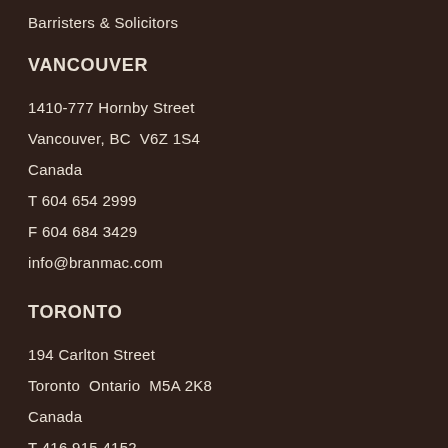Barristers & Solicitors
VANCOUVER
1410-777 Hornby Street
Vancouver, BC  V6Z 1S4
Canada
T 604 654 2999
F 604 684 3429
info@branmac.com
TORONTO
194 Carlton Street
Toronto  Ontario  M5A 2K8
Canada
T 416 915 4152
F 416 916 3199